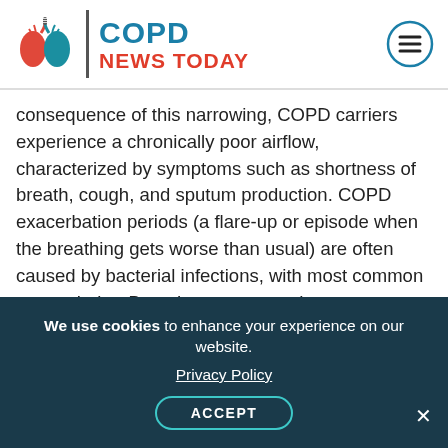[Figure (logo): COPD News Today logo with lung illustration, vertical divider, and site name]
consequence of this narrowing, COPD carriers experience a chronically poor airflow, characterized by symptoms such as shortness of breath, cough, and sputum production. COPD exacerbation periods (a flare-up or episode when the breathing gets worse than usual) are often caused by bacterial infections, with most common agents being Pseudomonas aeruginosa, non-typeable Haemophilus influenza, Streptococcus pneumoniae, and Branhamella catarrhalis.
Increasingly recognized is the risk among COPD
We use cookies to enhance your experience on our website.
Privacy Policy
ACCEPT